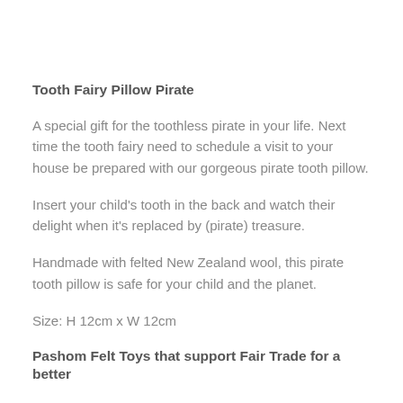Tooth Fairy Pillow Pirate
A special gift for the toothless pirate in your life. Next time the tooth fairy need to schedule a visit to your house be prepared with our gorgeous pirate tooth pillow.
Insert your child’s tooth in the back and watch their delight when it's replaced by (pirate) treasure.
Handmade with felted New Zealand wool, this pirate tooth pillow is safe for your child and the planet.
Size: H 12cm x W 12cm
Pashom Felt Toys that support Fair Trade for a better